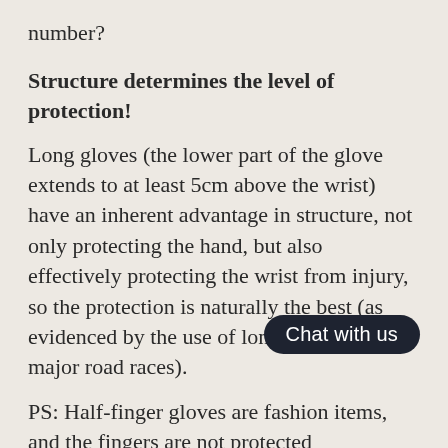number?
Structure determines the level of protection!
Long gloves (the lower part of the glove extends to at least 5cm above the wrist) have an inherent advantage in structure, not only protecting the hand, but also effectively protecting the wrist from injury, so the protection is naturally the best (as evidenced by the use of long gloves in major road races).
PS: Half-finger gloves are fashion items, and the fingers are not protected when falling off the bike, so it's not recommended to wear them while riding.